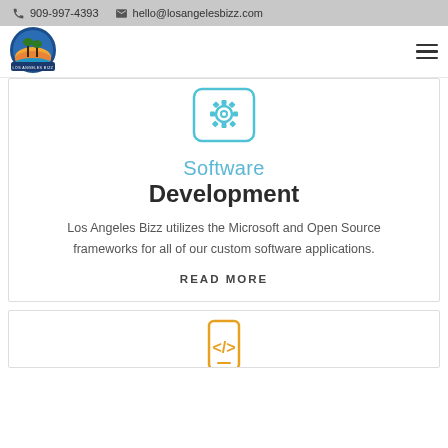909-997-4393   hello@losangelesbizz.com
[Figure (logo): Los Angeles Bizz circular logo with palm trees]
[Figure (illustration): Teal gear/settings icon in a rounded square box]
Software Development
Los Angeles Bizz utilizes the Microsoft and Open Source frameworks for all of our custom software applications.
READ MORE
[Figure (illustration): Orange mobile/code icon in a rounded rectangle box]